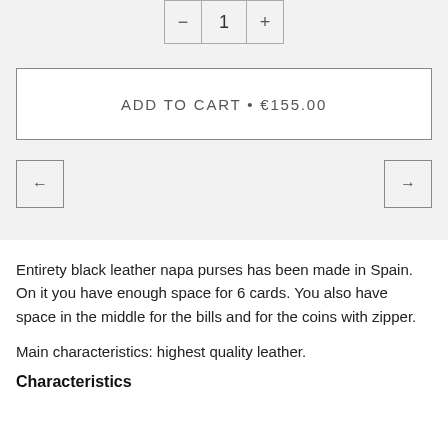ADD TO CART • €155.00
Entirety black leather napa purses has been made in Spain. On it you have enough space for 6 cards. You also have space in the middle for the bills and for the coins with zipper.
Main characteristics: highest quality leather.
Characteristics